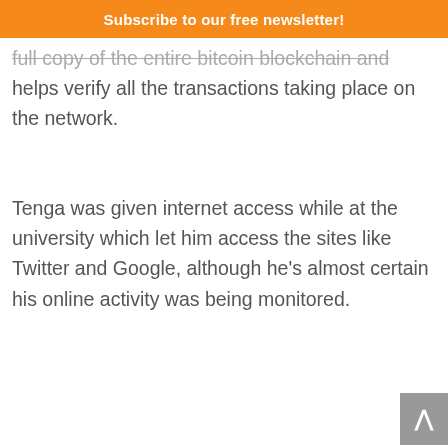Subscribe to our free newsletter!
full copy of the entire bitcoin blockchain and helps verify all the transactions taking place on the network.
Tenga was given internet access while at the university which let him access the sites like Twitter and Google, although he’s almost certain his online activity was being monitored.
But not everyone is convinced about the innocuous nature of North Korea’s interest in